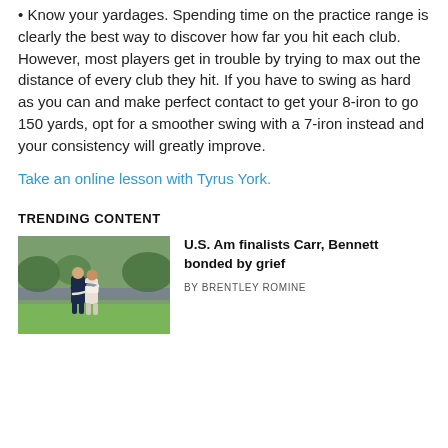Know your yardages. Spending time on the practice range is clearly the best way to discover how far you hit each club. However, most players get in trouble by trying to max out the distance of every club they hit. If you have to swing as hard as you can and make perfect contact to get your 8-iron to go 150 yards, opt for a smoother swing with a 7-iron instead and your consistency will greatly improve.
Take an online lesson with Tyrus York.
TRENDING CONTENT
[Figure (photo): Two golfers embracing on a golf course with a crowd in the background]
U.S. Am finalists Carr, Bennett bonded by grief
BY BRENTLEY ROMINE